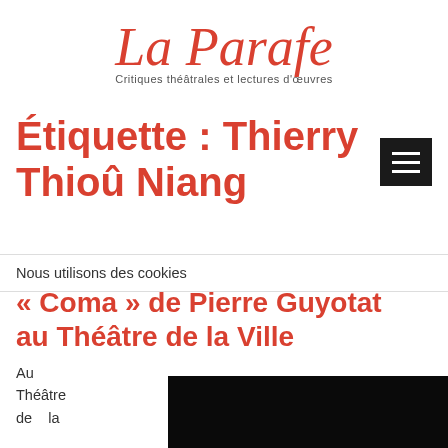La Parafe — Critiques théâtrales et lectures d'œuvres
Étiquette : Thierry Thioû Niang
Nous utilisons des cookies
15 septembre 2012   Spectacles
« Coma » de Pierre Guyotat au Théâtre de la Ville
Au Théâtre de la
[Figure (photo): Black rectangular image block at bottom right]